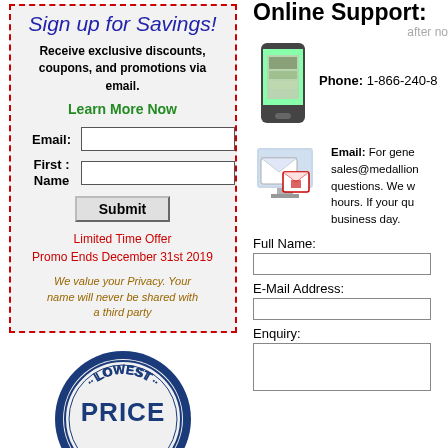Sign up for Savings!
Receive exclusive discounts, coupons, and promotions via email.
Learn More Now
Email: [input field]
First Name: [input field]
Submit
Limited Time Offer
Promo Ends December 31st 2019
We value your Privacy. Your name will never be shared with a third party
[Figure (logo): Lowest Price Promise circular stamp logo with 'Lowest Prices' banner below]
Online Support:
after no
[Figure (photo): Mobile phone/smartphone image]
Phone: 1-866-240-8...
[Figure (photo): Email/envelope and monitor image]
Email: For gene... sales@medallion... questions. We w... hours. If your que... business day.
Full Name:
E-Mail Address:
Enquiry: